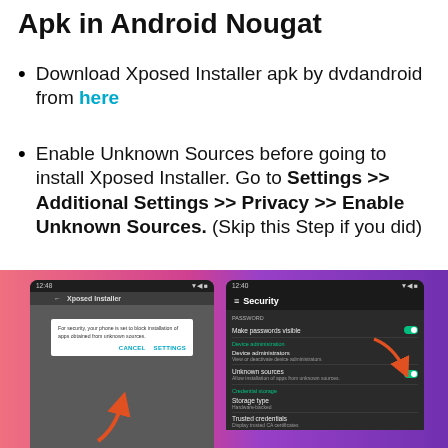Apk in Android Nougat
Download Xposed Installer apk by dvdandroid from here
Enable Unknown Sources before going to install Xposed Installer. Go to Settings >> Additional Settings >> Privacy >> Enable Unknown Sources. (Skip this Step if you did)
[Figure (screenshot): Two Android phone screenshots side by side on a pink-to-purple gradient background. Left phone shows the Xposed Installer app with a security dialog blocking installation from unknown sources, with CANCEL and SETTINGS buttons, and an orange arrow pointing up to SETTINGS. Right phone shows Android Security settings with Unknown sources toggle enabled (green), and an orange arrow pointing to the toggle.]